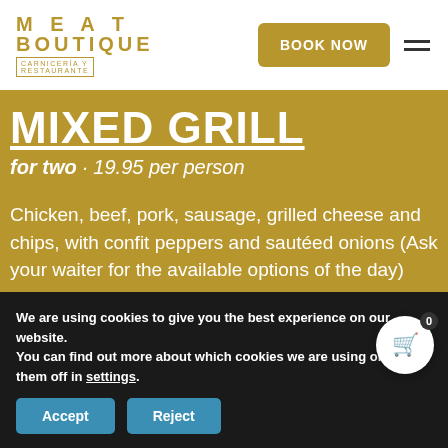Cajun chicken salad ........ 10,0
[Figure (logo): Meat Boutique logo - MEAT BOUTIQUE CARNICERIA Y RESTAURANTE in gold text]
BOOK NOW
MIXED GRILL
for two · 19.95 per person
Chicken, beef, pork, sausage, grilled cheese and chips, with confit peppers and sautéed onions (Ask your waiter for the available options of the day)
We are using cookies to give you the best experience on our website.
You can find out more about which cookies we are using or switch them off in settings.
Accept
Reject